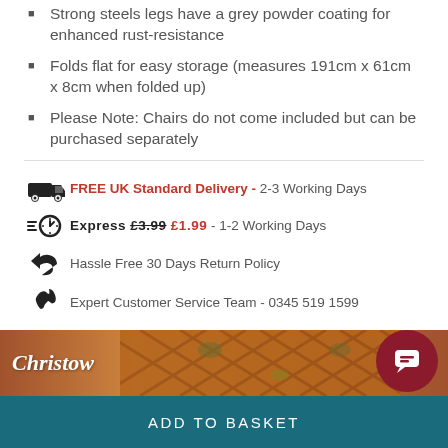Strong steels legs have a grey powder coating for enhanced rust-resistance
Folds flat for easy storage (measures 191cm x 61cm x 8cm when folded up)
Please Note: Chairs do not come included but can be purchased separately
FREE UK Standard Delivery - 2-3 Working Days
Express £3.99 £1.99 - 1-2 Working Days
Hassle Free 30 Days Return Policy
Expert Customer Service Team - 0345 519 1599
[Figure (logo): Christow brand logo on a wooden trellis background banner]
ADD TO BASKET